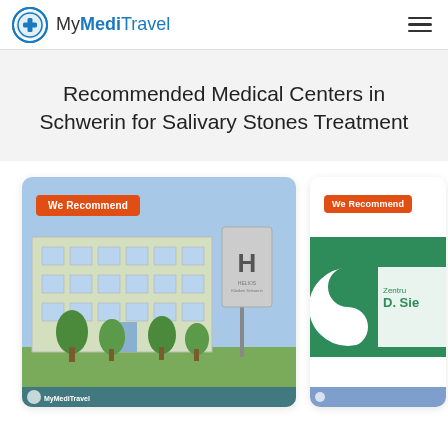MyMediTravel
Recommended Medical Centers in Schwerin for Salivary Stones Treatment
[Figure (photo): Exterior photo of a medical center building with a tall sign post showing 'H' logo, trees in foreground, with a 'We Recommend' orange badge]
[Figure (photo): Partially visible card showing a green yin-yang style logo with text 'Zentrum D. Sie...' and a 'We Recommend' orange badge]